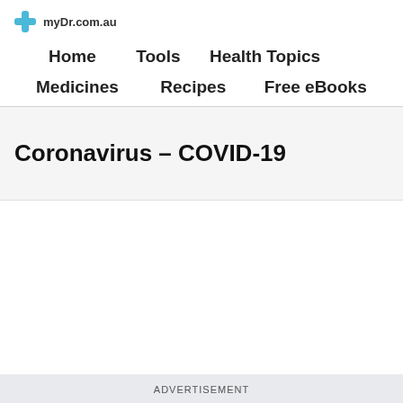myDr.com.au
Home
Tools
Health Topics
Medicines
Recipes
Free eBooks
Coronavirus – COVID-19
ADVERTISEMENT